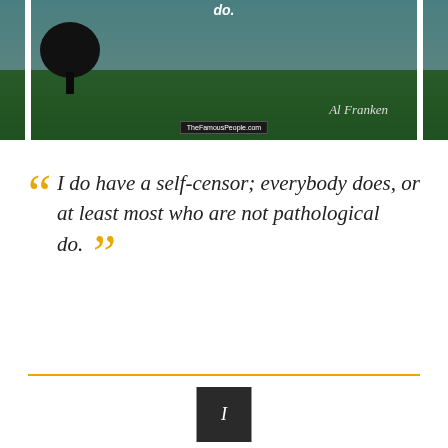[Figure (photo): Quote image with tree silhouette, green grass, blue sky, Al Franken signature, TheFamousPeople.com watermark, text 'do.' at top]
I do have a self-censor; everybody does, or at least most who are not pathological do.
[Figure (other): Dark share button with letter I]
Al Franken
[Figure (photo): Bottom quote image with bamboo forest background, Pinterest and Twitter share buttons, partial quote 'My dad was a terrible bu...' with Al Franken signature, TheFamousPeople brand, close button]